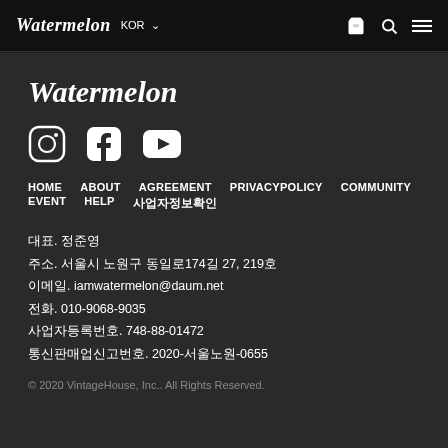Watermelon  KOR
Watermelon
[Figure (other): Social media icons: Instagram, Facebook, YouTube]
HOME   ABOUT   AGREEMENT   PRIVACYPOLICY   COMMUNITY
EVENT   HELP   사업자정보확인
대표. 정준영
주소. 서울시 노원구 동일로174길 27, 219호
이메일. iamwatermelon@daum.net
전화. 010-9068-9035
사업자등록번호. 748-88-01472
통신판매업신고번호. 2020-서울노원-0655
© 2020 VintageHouse, Inc.. All Rights Reserved.